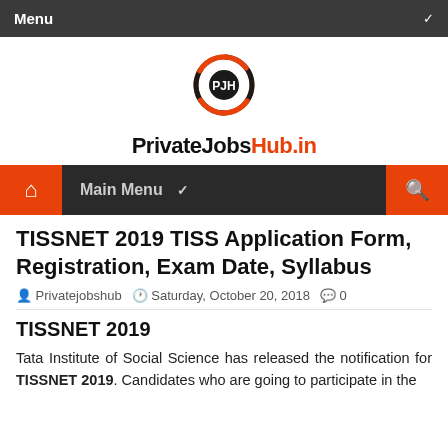Menu
[Figure (logo): PrivateJobsHub.in logo with circular swoosh graphic and bold wordmark]
Main Menu
TISSNET 2019 TISS Application Form, Registration, Exam Date, Syllabus
Privatejobshub  Saturday, October 20, 2018  0
TISSNET 2019
Tata Institute of Social Science has released the notification for TISSNET 2019. Candidates who are going to participate in the